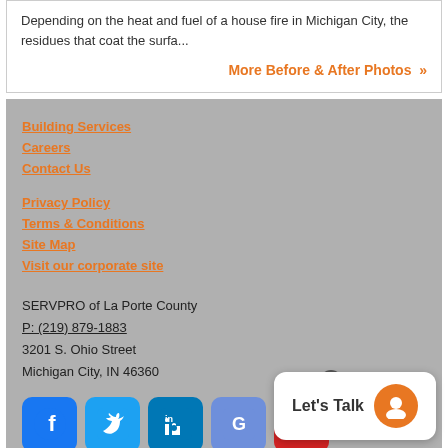Depending on the heat and fuel of a house fire in Michigan City, the residues that coat the surfa...
More Before & After Photos »
Building Services
Careers
Contact Us
Privacy Policy
Terms & Conditions
Site Map
Visit our corporate site
SERVPRO of La Porte County
P: (219) 879-1883
3201 S. Ohio Street
Michigan City, IN 46360
[Figure (infographic): Social media icons: Facebook, Twitter, LinkedIn, Google Maps, Yelp]
© Servpro Industries, LLC. – All services in the U.S. performed by independently owned and operated franchises of Servpro Industries, LLC.
© Servpro Industries (Canada) ULC – All services in Canada are independently owned and operated franchises of Servpro Industries (Canada) ULC.